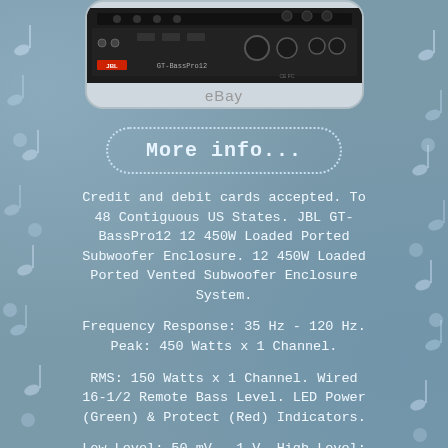[Figure (photo): Product image of JBL GT-BassPro12 amplifier/subwoofer unit shown in a rounded rectangle frame with eBay watermark below]
[Figure (other): More info... button with dotted rounded border]
Credit and debit cards accepted. To 48 Contiguous US States. JBL GT-BassPro12 12 450W Loaded Ported Subwoofer Enclosure. 12 450W Loaded Ported Vented Subwoofer Enclosure System.
Frequency Response: 35 Hz - 120 Hz. Peak: 450 Watts x 1 Channel.
RMS: 150 Watts x 1 Channel. Wired 16-1/2 Remote Bass Level. LED Power (Green) & Protect (Red) Indicators.
Low Level: 50 mV - 1 V. High Level: